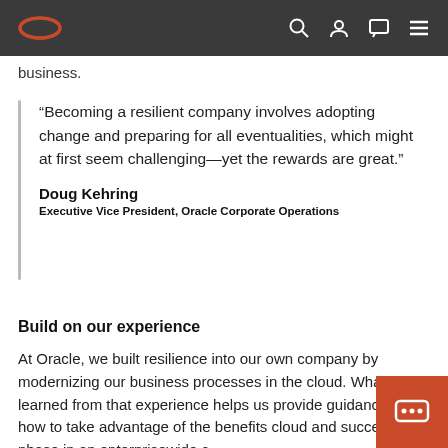Oracle [navigation bar with logo, search, account, chat, menu icons]
business.
“Becoming a resilient company involves adopting change and preparing for all eventualities, which might at first seem challenging—yet the rewards are great.”

Doug Kehring
Executive Vice President, Oracle Corporate Operations
Build on our experience
At Oracle, we built resilience into our own company by modernizing our business processes in the cloud. What we learned from that experience helps us provide guidance on how to take advantage of the benefits cloud and successfully phase in an enterprisewide c